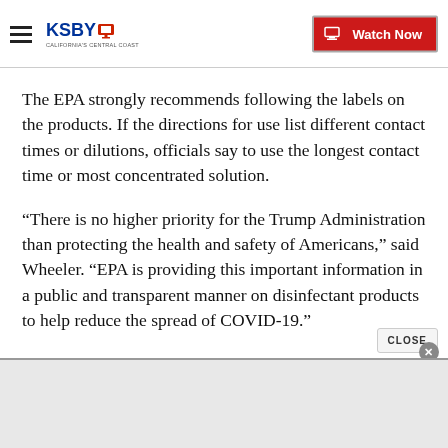KSBY — California's Central Coast | Watch Now
The EPA strongly recommends following the labels on the products. If the directions for use list different contact times or dilutions, officials say to use the longest contact time or most concentrated solution.
“There is no higher priority for the Trump Administration than protecting the health and safety of Americans,” said Wheeler. “EPA is providing this important information in a public and transparent manner on disinfectant products to help reduce the spread of COVID-19.”